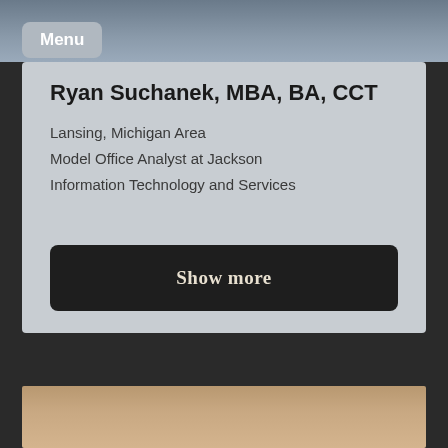[Figure (photo): Top portion of a LinkedIn profile photo — partially visible at the top of the page]
Menu
Ryan Suchanek, MBA, BA, CCT
Lansing, Michigan Area
Model Office Analyst at Jackson
Information Technology and Services
Show more
[Figure (photo): Bottom portion of a LinkedIn profile photo — head and upper shoulders of a man visible at the bottom of the page]